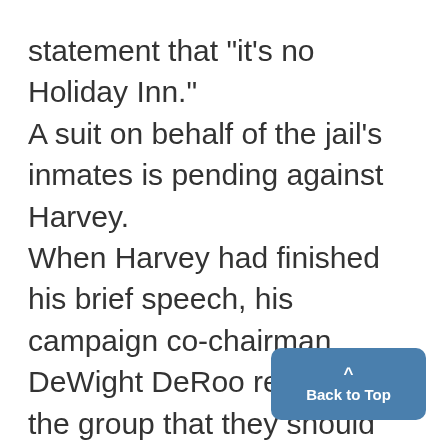statement that "it's no Holiday Inn." A suit on behalf of the jail's inmates is pending against Harvey. When Harvey had finished his brief speech, his campaign co-chairman DeWight DeRoo reminded the group that they should vote for Harvey to "keep Washtenaw County from going to pot." The tables were cleared, the band perked up and the guests